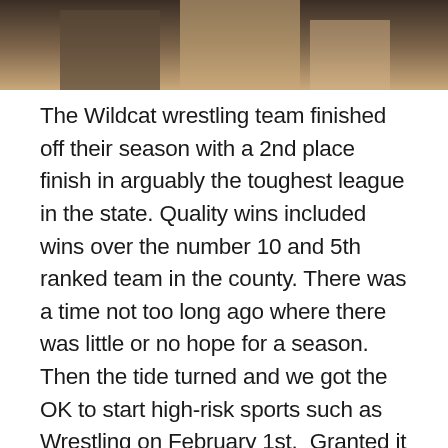[Figure (photo): Partial photo of wrestlers or athletes, cropped at bottom, dark toned image showing figures from mid-body.]
The Wildcat wrestling team finished off their season with a 2nd place finish in arguably the toughest league in the state. Quality wins included wins over the number 10 and 5th ranked team in the county. There was a time not too long ago where there was little or no hope for a season.  Then the tide turned and we got the OK to start high-risk sports such as Wrestling on February 1st.  Granted it was only a 4-week season, but our grapplers had the opportunity to show off the hard work they have put in since the end of last season.